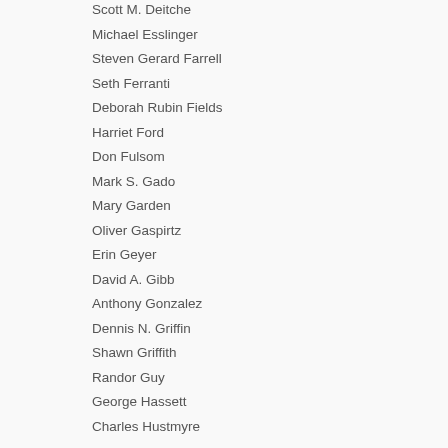Scott M. Deitche
Michael Esslinger
Steven Gerard Farrell
Seth Ferranti
Deborah Rubin Fields
Harriet Ford
Don Fulsom
Mark S. Gado
Mary Garden
Oliver Gaspirtz
Erin Geyer
David A. Gibb
Anthony Gonzalez
Dennis N. Griffin
Shawn Griffith
Randor Guy
George Hassett
Charles Hustmyre